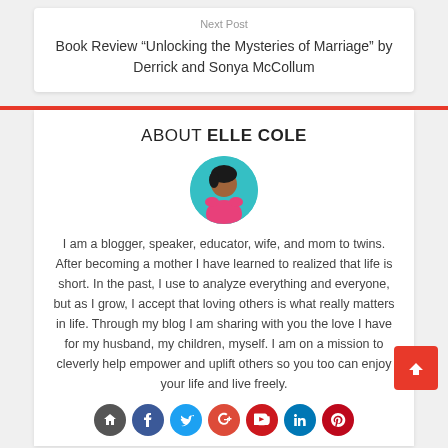Next Post
Book Review “Unlocking the Mysteries of Marriage” by Derrick and Sonya McCollum
ABOUT ELLE COLE
[Figure (photo): Circular avatar photo of Elle Cole on a teal background]
I am a blogger, speaker, educator, wife, and mom to twins. After becoming a mother I have learned to realized that life is short. In the past, I use to analyze everything and everyone, but as I grow, I accept that loving others is what really matters in life. Through my blog I am sharing with you the love I have for my husband, my children, myself. I am on a mission to cleverly help empower and uplift others so you too can enjoy your life and live freely.
[Figure (infographic): Row of social media icon circles: home/RSS, Facebook, Twitter, Google+, YouTube, LinkedIn, Pinterest]